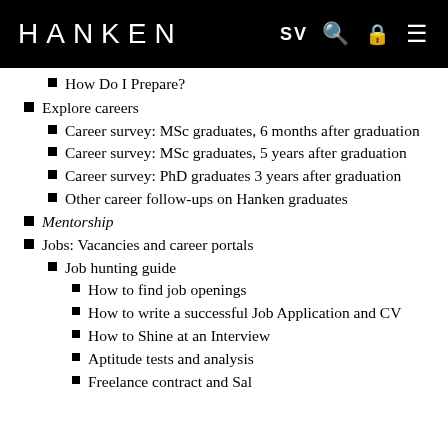HANKEN | SV 🔍 🔒 ☰
How Do I Prepare?
Explore careers
Career survey: MSc graduates, 6 months after graduation
Career survey: MSc graduates, 5 years after graduation
Career survey: PhD graduates 3 years after graduation
Other career follow-ups on Hanken graduates
Mentorship
Jobs: Vacancies and career portals
Job hunting guide
How to find job openings
How to write a successful Job Application and CV
How to Shine at an Interview
Aptitude tests and analysis
Freelance contract and Sal…